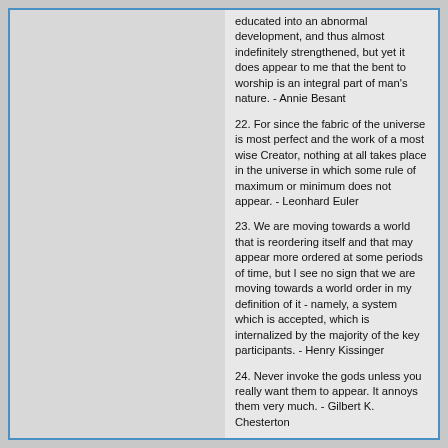educated into an abnormal development, and thus almost indefinitely strengthened, but yet it does appear to me that the bent to worship is an integral part of man's nature. - Annie Besant
22. For since the fabric of the universe is most perfect and the work of a most wise Creator, nothing at all takes place in the universe in which some rule of maximum or minimum does not appear. - Leonhard Euler
23. We are moving towards a world that is reordering itself and that may appear more ordered at some periods of time, but I see no sign that we are moving towards a world order in my definition of it - namely, a system which is accepted, which is internalized by the majority of the key participants. - Henry Kissinger
24. Never invoke the gods unless you really want them to appear. It annoys them very much. - Gilbert K. Chesterton
25. All my pictures are built around the idea of getting in trouble and so giving me the chance to be desperately serious in my attempt to appear as a normal little gentleman. - Charlie Chaplin